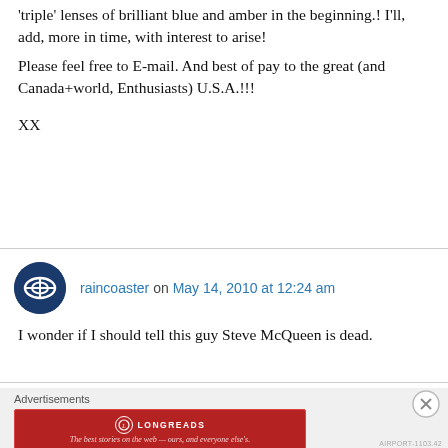'triple' lenses of brilliant blue and amber in the beginning.! I'll, add, more in time, with interest to arise!
Please feel free to E-mail. And best of pay to the great (and Canada+world, Enthusiasts) U.S.A.!!!
XX
raincoaster on May 14, 2010 at 12:24 am
I wonder if I should tell this guy Steve McQueen is dead.
Advertisements
[Figure (logo): Longreads advertisement banner: red background with Longreads logo and text 'The best stories on the web — ours, and everyone else's.']